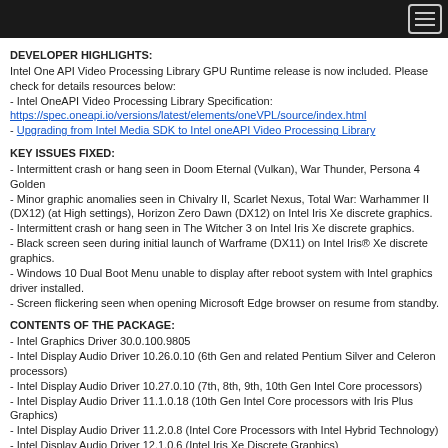DEVELOPER HIGHLIGHTS:
Intel One API Video Processing Library GPU Runtime release is now included. Please check for details resources below:
- Intel OneAPI Video Processing Library Specification:
https://spec.oneapi.io/versions/latest/elements/oneVPL/source/index.html
- Upgrading from Intel Media SDK to Intel oneAPI Video Processing Library
KEY ISSUES FIXED:
- Intermittent crash or hang seen in Doom Eternal (Vulkan), War Thunder, Persona 4 Golden
- Minor graphic anomalies seen in Chivalry II, Scarlet Nexus, Total War: Warhammer II (DX12) (at High settings), Horizon Zero Dawn (DX12) on Intel Iris Xe discrete graphics.
- Intermittent crash or hang seen in The Witcher 3 on Intel Iris Xe discrete graphics.
- Black screen seen during initial launch of Warframe (DX11) on Intel Iris® Xe discrete graphics.
- Windows 10 Dual Boot Menu unable to display after reboot system with Intel graphics driver installed.
- Screen flickering seen when opening Microsoft Edge browser on resume from standby.
CONTENTS OF THE PACKAGE:
- Intel Graphics Driver 30.0.100.9805
- Intel Display Audio Driver 10.26.0.10 (6th Gen and related Pentium Silver and Celeron processors)
- Intel Display Audio Driver 10.27.0.10 (7th, 8th, 9th, 10th Gen Intel Core processors)
- Intel Display Audio Driver 11.1.0.18 (10th Gen Intel Core processors with Iris Plus Graphics)
- Intel Display Audio Driver 11.2.0.8 (Intel Core Processors with Intel Hybrid Technology)
- Intel Display Audio Driver 12.1.0.6 (Intel Iris Xe Discrete Graphics)